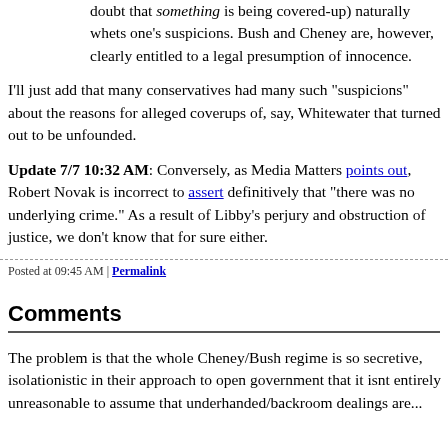doubt that something is being covered-up) naturally whets one's suspicions. Bush and Cheney are, however, clearly entitled to a legal presumption of innocence.
I'll just add that many conservatives had many such "suspicions" about the reasons for alleged coverups of, say, Whitewater that turned out to be unfounded.
Update 7/7 10:32 AM: Conversely, as Media Matters points out, Robert Novak is incorrect to assert definitively that "there was no underlying crime." As a result of Libby's perjury and obstruction of justice, we don't know that for sure either.
Posted at 09:45 AM | Permalink
Comments
The problem is that the whole Cheney/Bush regime is so secretive, isolationistic in their approach to open government that it isnt entirely unreasonable to assume that underhanded/backroom dealings are...